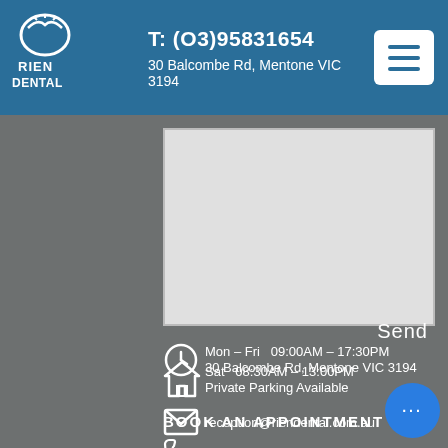T: (03)95831654  30 Balcombe Rd, Mentone VIC 3194
Send
30 Balcombe Rd, Mentone VIC 3194
Private Parking Available
reception@riendental.com.au
(03) 9583 1654
Mon – Fri  09:00AM – 17:30PM
Sat  08:30AM – 13:00PM
BOOK AN APPOINTMENT